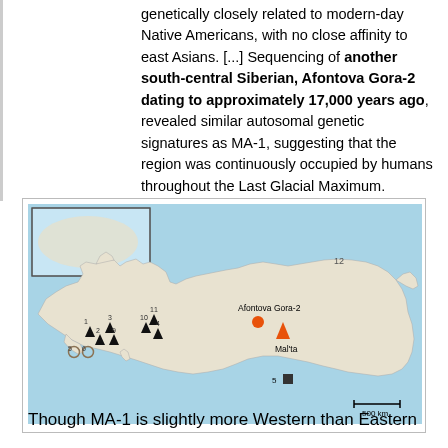genetically closely related to modern-day Native Americans, with no close affinity to east Asians. [...] Sequencing of another south-central Siberian, Afontova Gora-2 dating to approximately 17,000 years ago, revealed similar autosomal genetic signatures as MA-1, suggesting that the region was continuously occupied by humans throughout the Last Glacial Maximum.
[Figure (map): Map of Eurasia showing location markers for Afontova Gora-2 (orange circle), Mal'ta (orange triangle), and various numbered black triangle and square markers across Europe and Central Asia. A 500 km scale bar is shown in the lower right. An inset world map in the upper left highlights the region.]
Though MA-1 is slightly more Western than Eastern